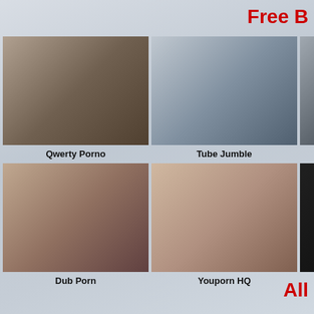Free B
[Figure (photo): Thumbnail image for Qwerty Porno]
Qwerty Porno
[Figure (photo): Thumbnail image for Tube Jumble]
Tube Jumble
[Figure (photo): Partial thumbnail image (cropped right side)]
[Figure (photo): Thumbnail image for Dub Porn]
Dub Porn
[Figure (photo): Thumbnail image for Youporn HQ]
Youporn HQ
[Figure (photo): Partial thumbnail image (cropped right side, dark)]
All